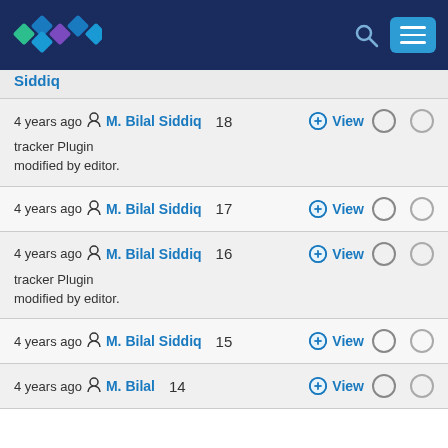[Figure (screenshot): Website header with diamond logo, search icon, and menu button on dark navy background]
Siddiq (partial, top of page)
4 years ago M. Bilal Siddiq 18 View — tracker Plugin modified by editor.
4 years ago M. Bilal Siddiq 17 View
4 years ago M. Bilal Siddiq 16 View — tracker Plugin modified by editor.
4 years ago M. Bilal Siddiq 15 View
4 years ago M. Bilal (partial, bottom of page) 14 View